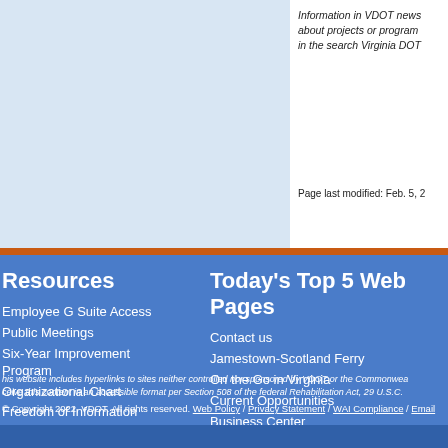Information in VDOT news about projects or programs in the search Virginia DOT
Page last modified: Feb. 5, 2
Resources
Employee G Suite Access
Public Meetings
Six-Year Improvement Program
Organizational Chart
Freedom of Information
Today's Top 5 Web Pages
Contact us
Jamestown-Scotland Ferry
On the Go in Virginia
Current Opportunities
Business Center
his website includes hyperlinks to sites neither controlled nor sponsored by VDOT or the Commonwealth. ceive this content in an accessible format per Section 508 of the federal Rehabilitation Act, 29 U.S.C.
Copyright 2022, VDOT. All rights reserved. Web Policy / Privacy Statement / WAI Compliance / Email